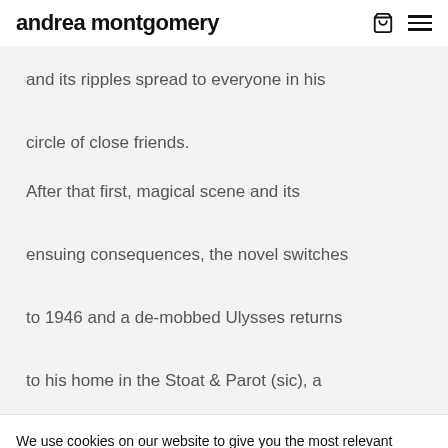andrea montgomery
and its ripples spread to everyone in his circle of close friends.
After that first, magical scene and its ensuing consequences, the novel switches to 1946 and a de-mobbed Ulysses returns to his home in the Stoat & Parot (sic), a
We use cookies on our website to give you the most relevant experience by remembering your preferences and repeat visits. By clicking "Accept All", you consent to the use of ALL the cookies. However, you may visit "Cookie Settings" to provide a controlled consent.